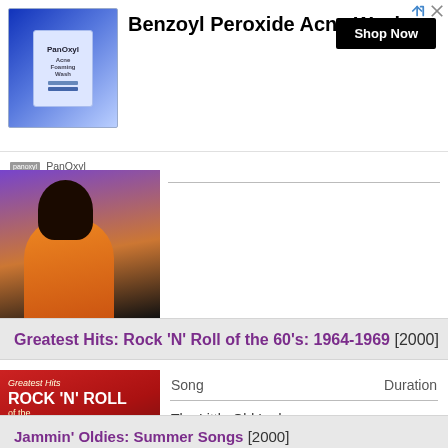[Figure (other): Advertisement banner for PanOxyl Benzoyl Peroxide Acne Wash with product image and Shop Now button]
Benzoyl Peroxide Acne Wash
PanOxyl
[Figure (photo): Partial album cover photo showing person in orange/yellow jacket]
Greatest Hits: Rock 'N' Roll of the 60's: 1964-1969 [2000]
[Figure (photo): Album cover for Greatest Hits: Rock 'N' Roll of the 60s 1964-1969]
| Song | Duration |
| --- | --- |
| The Little Old Lady (From Pasadena) |  |
Jammin' Oldies: Summer Songs [2000]